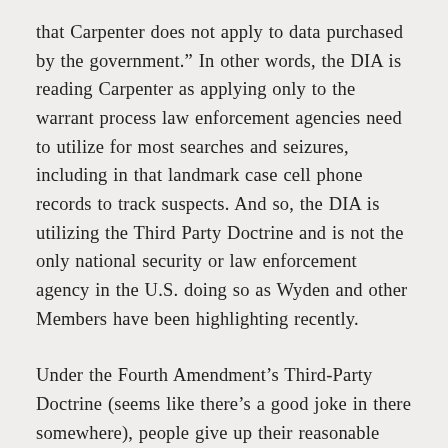that Carpenter does not apply to data purchased by the government.” In other words, the DIA is reading Carpenter as applying only to the warrant process law enforcement agencies need to utilize for most searches and seizures, including in that landmark case cell phone records to track suspects. And so, the DIA is utilizing the Third Party Doctrine and is not the only national security or law enforcement agency in the U.S. doing so as Wyden and other Members have been highlighting recently.
Under the Fourth Amendment’s Third-Party Doctrine (seems like there’s a good joke in there somewhere), people give up their reasonable expectation of privacy in using services such a cell